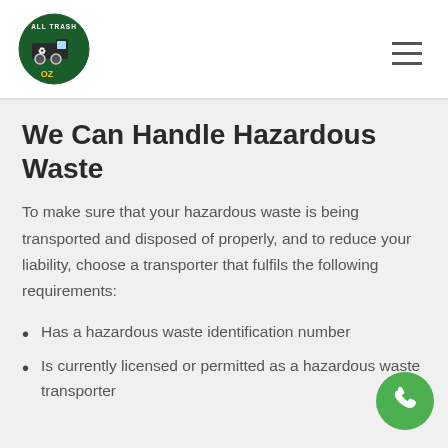All Trash OZ logo and navigation
We Can Handle Hazardous Waste
To make sure that your hazardous waste is being transported and disposed of properly, and to reduce your liability, choose a transporter that fulfils the following requirements:
Has a hazardous waste identification number
Is currently licensed or permitted as a hazardous waste transporter